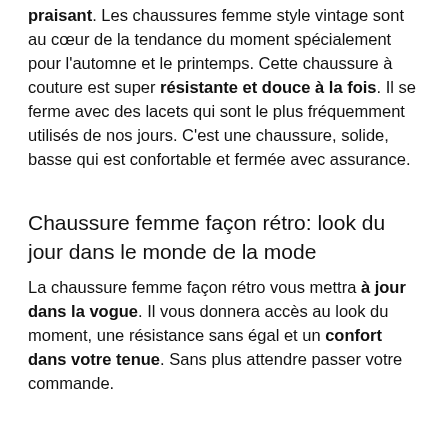praisant. Les chaussures femme style vintage sont au cœur de la tendance du moment spécialement pour l'automne et le printemps. Cette chaussure à couture est super résistante et douce à la fois. Il se ferme avec des lacets qui sont le plus fréquemment utilisés de nos jours. C'est une chaussure, solide, basse qui est confortable et fermée avec assurance.
Chaussure femme façon rétro: look du jour dans le monde de la mode
La chaussure femme façon rétro vous mettra à jour dans la vogue. Il vous donnera accès au look du moment, une résistance sans égal et un confort dans votre tenue. Sans plus attendre passer votre commande.